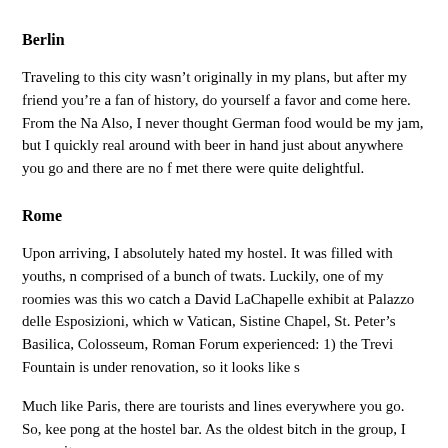Berlin
Traveling to this city wasn't originally in my plans, but after my friend you're a fan of history, do yourself a favor and come here. From the Na Also, I never thought German food would be my jam, but I quickly real around with beer in hand just about anywhere you go and there are no f met there were quite delightful.
Rome
Upon arriving, I absolutely hated my hostel. It was filled with youths, n comprised of a bunch of twats. Luckily, one of my roomies was this wo catch a David LaChapelle exhibit at Palazzo delle Esposizioni, which w Vatican, Sistine Chapel, St. Peter's Basilica, Colosseum, Roman Forum experienced: 1) the Trevi Fountain is under renovation, so it looks like s
Much like Paris, there are tourists and lines everywhere you go. So, kee pong at the hostel bar. As the oldest bitch in the group, I was quite prou
Nice
This was my “chill city,” so I haven’t done much other than walk along